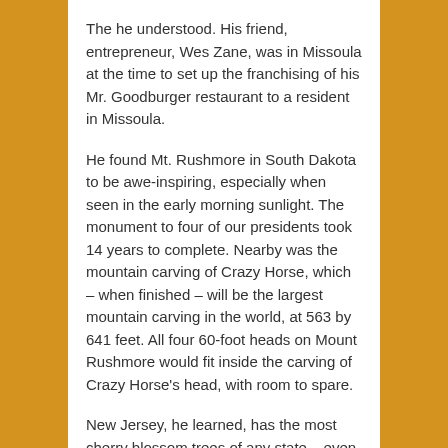The he understood. His friend, entrepreneur, Wes Zane, was in Missoula at the time to set up the franchising of his Mr. Goodburger restaurant to a resident in Missoula.
He found Mt. Rushmore in South Dakota to be awe-inspiring, especially when seen in the early morning sunlight. The monument to four of our presidents took 14 years to complete. Nearby was the mountain carving of Crazy Horse, which – when finished – will be the largest mountain carving in the world, at 563 by 641 feet. All four 60-foot heads on Mount Rushmore would fit inside the carving of Crazy Horse's head, with room to spare.
New Jersey, he learned, has the most cherry blossom trees of any state – even more than Washington, D.C., whose Cherry Blossom Festival is world famous.
In Portland Ore., he went to the world's largest Cinco de Mayo Festival outside of Mexico.
He discovered the country's only capital city with no